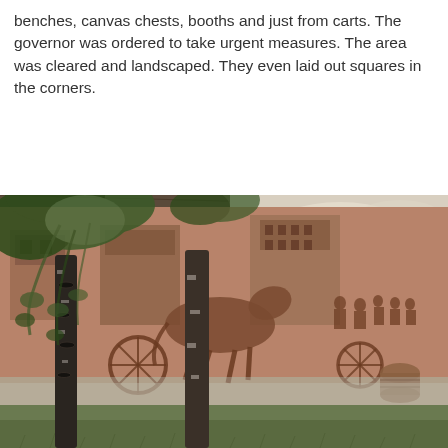benches, canvas chests, booths and just from carts. The governor was ordered to take urgent measures. The area was cleared and landscaped. They even laid out squares in the corners.
[Figure (photo): Outdoor photograph of a large wall mural depicting a historical market scene with horse-drawn carts, barrels, and townspeople, partially obscured by birch trees in the foreground, with green grass at the bottom.]